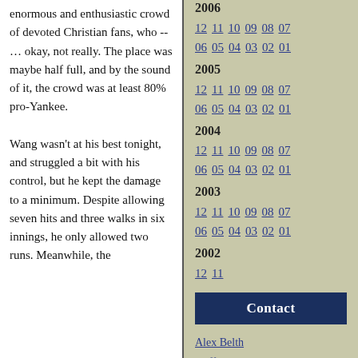enormous and enthusiastic crowd of devoted Christian fans, who -- … okay, not really. The place was maybe half full, and by the sound of it, the crowd was at least 80% pro-Yankee.

Wang wasn't at his best tonight, and struggled a bit with his control, but he kept the damage to a minimum. Despite allowing seven hits and three walks in six innings, he only allowed two runs. Meanwhile, the
2005
12 11 10 09 08 07 06 05 04 03 02 01
2004
12 11 10 09 08 07 06 05 04 03 02 01
2003
12 11 10 09 08 07 06 05 04 03 02 01
2002
12 11
Contact
Alex Belth
Cliff Corcoran